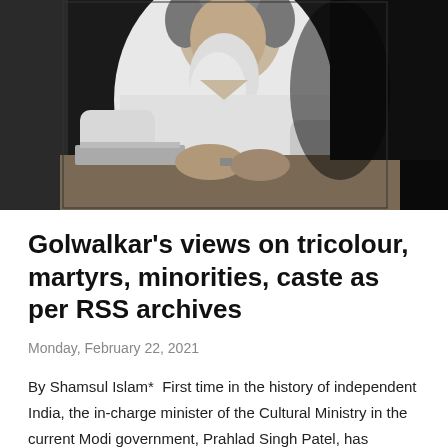[Figure (photo): Black and white photograph of an elderly bearded man (MS Golwalkar) seated at a desk, wearing a white short-sleeved shirt, with books or papers visible on the desk.]
Golwalkar's views on tricolour, martyrs, minorities, caste as per RSS archives
Monday, February 22, 2021
By Shamsul Islam*  First time in the history of independent India, the in-charge minister of the Cultural Ministry in the current Modi government, Prahlad Singh Patel, has glorified MS Golwalkar, second supremo of the RSS and the most promin …